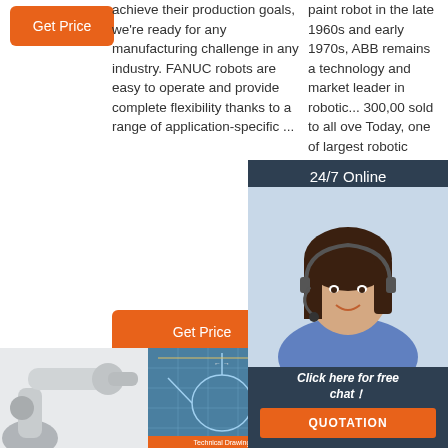[Figure (other): Orange 'Get Price' button on left column]
achieve their production goals, we're ready for any manufacturing challenge in any industry. FANUC robots are easy to operate and provide complete flexibility thanks to a range of application-specific ...
paint robot in the late 1960s and early 1970s, ABB remains a technology and market leader in robotic... 300,000 sold to all over... Today, one of the largest robotic companies...
[Figure (other): 24/7 Online chat widget with customer service representative photo, 'Click here for free chat!' text, and QUOTATION button]
[Figure (other): Orange 'Get Price' button in middle column]
[Figure (other): Orange 'Get Price' button in right column]
[Figure (other): TOP navigation button with orange dots triangle icon]
[Figure (photo): Industrial robot arm, white/grey, bottom left]
[Figure (engineering-diagram): Technical blueprint/schematic drawing of robot, middle bottom]
[Figure (photo): Industrial robot arm, grey, bottom right]